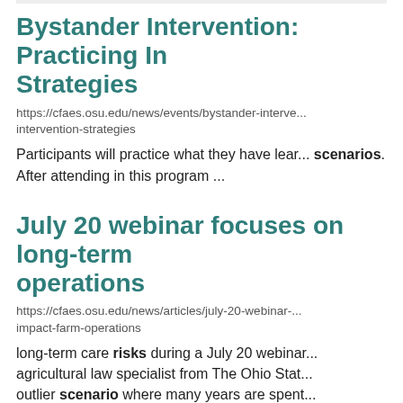Bystander Intervention: Practicing Intervention Strategies
https://cfaes.osu.edu/news/events/bystander-intervention-strategies
Participants will practice what they have learned through scenarios. After attending in this program ...
July 20 webinar focuses on long-term operations
https://cfaes.osu.edu/news/articles/july-20-webinar-impact-farm-operations
long-term care risks during a July 20 webinar ... agricultural law specialist from The Ohio State ... outlier scenario where many years are spent ...